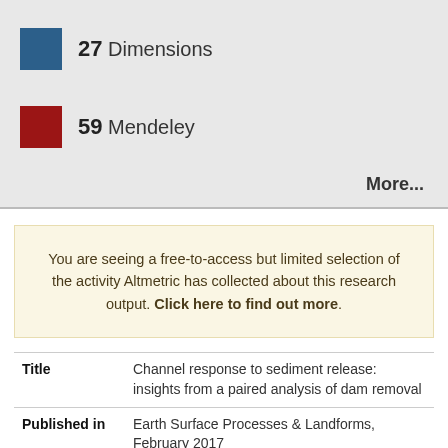27 Dimensions
59 Mendeley
More...
You are seeing a free-to-access but limited selection of the activity Altmetric has collected about this research output. Click here to find out more.
| Field | Value |
| --- | --- |
| Title | Channel response to sediment release: insights from a paired analysis of dam removal |
| Published in | Earth Surface Processes & Landforms, February 2017 |